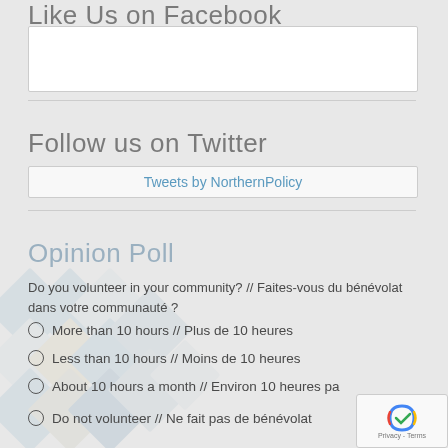Like Us on Facebook
[Figure (other): Facebook widget placeholder box (empty white rectangle)]
Follow us on Twitter
Tweets by NorthernPolicy
Opinion Poll
Do you volunteer in your community? // Faites-vous du bénévolat dans votre communauté ?
More than 10 hours // Plus de 10 heures
Less than 10 hours // Moins de 10 heures
About 10 hours a month // Environ 10 heures pa...
Do not volunteer // Ne fait pas de bénévolat